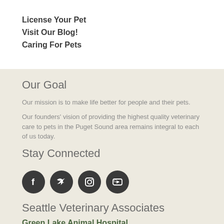License Your Pet
Visit Our Blog!
Caring For Pets
Our Goal
Our mission is to make life better for people and their pets.
Our founders' vision of providing the highest quality veterinary care to pets in the Puget Sound area remains integral to each of us today.
Stay Connected
[Figure (illustration): Social media icons: Facebook, Twitter, Instagram, YouTube]
Seattle Veterinary Associates
Green Lake Animal Hospital